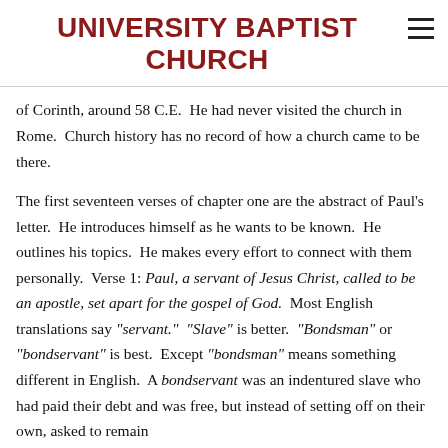UNIVERSITY BAPTIST CHURCH
of Corinth, around 58 C.E.  He had never visited the church in Rome.  Church history has no record of how a church came to be there.
The first seventeen verses of chapter one are the abstract of Paul's letter.  He introduces himself as he wants to be known.  He outlines his topics.  He makes every effort to connect with them personally.  Verse 1: Paul, a servant of Jesus Christ, called to be an apostle, set apart for the gospel of God.  Most English translations say "servant."  "Slave" is better.  "Bondsman" or "bondservant" is best.  Except "bondsman" means something different in English.  A bondservant was an indentured slave who had paid their debt and was free, but instead of setting off on their own, asked to remain with the master, by choice, living as a slave for the